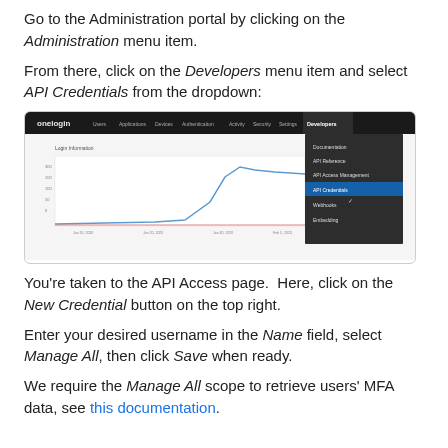Go to the Administration portal by clicking on the Administration menu item.
From there, click on the Developers menu item and select API Credentials from the dropdown:
[Figure (screenshot): Screenshot of OneLogin administration interface showing the Developers dropdown menu open with options: Documentation, API Reference, API Access Management, API Credentials (highlighted), Webhooks, Embedding. The main content area shows a Login Information chart.]
You're taken to the API Access page.  Here, click on the New Credential button on the top right.
Enter your desired username in the Name field, select Manage All, then click Save when ready.
We require the Manage All scope to retrieve users' MFA data, see this documentation.